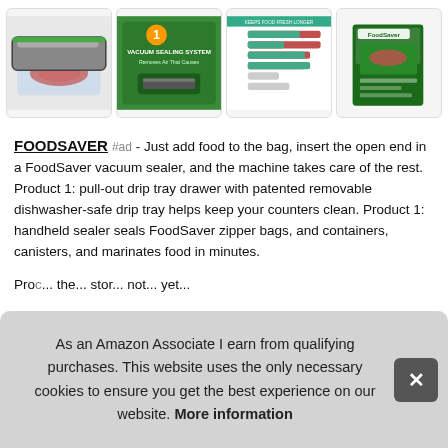[Figure (photo): Strip of four product images: vacuum sealer with meat-filled bag, green promotional card for vacuum sealing system, comparison chart with colored bars, FoodSaver product box]
FOODSAVER #ad - Just add food to the bag, insert the open end in a FoodSaver vacuum sealer, and the machine takes care of the rest. Product 1: pull-out drip tray drawer with patented removable dishwasher-safe drip tray helps keep your counters clean. Product 1: handheld sealer seals FoodSaver zipper bags, and containers, canisters, and marinates food in minutes.
Proc... the... stor... not... yet...
As an Amazon Associate I earn from qualifying purchases. This website uses the only necessary cookies to ensure you get the best experience on our website. More information